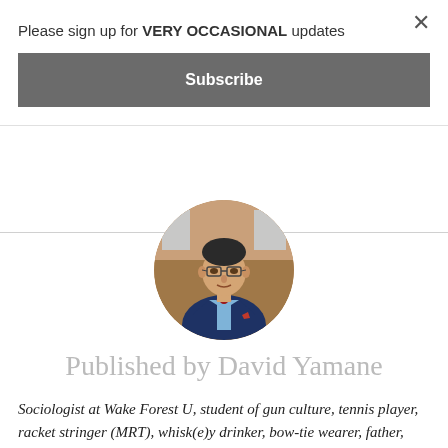Please sign up for VERY OCCASIONAL updates
Subscribe
[Figure (photo): Circular headshot of David Yamane, a man wearing glasses, a navy blue suit jacket, light blue shirt, and red bow tie, photographed outdoors in front of a brick building.]
Published by David Yamane
Sociologist at Wake Forest U, student of gun culture, tennis player, racket stringer (MRT), whisk(e)y drinker, bow-tie wearer, father, husband. Not necessarily in that